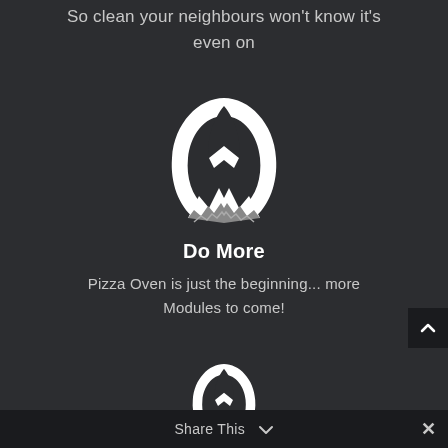So clean your neighbours won't know it's even on
[Figure (logo): White mountain/flame logo icon on dark background]
Do More
Pizza Oven is just the beginning... more Modules to come!
[Figure (logo): White mountain/flame logo icon on dark background (partially visible at bottom)]
Share This ×